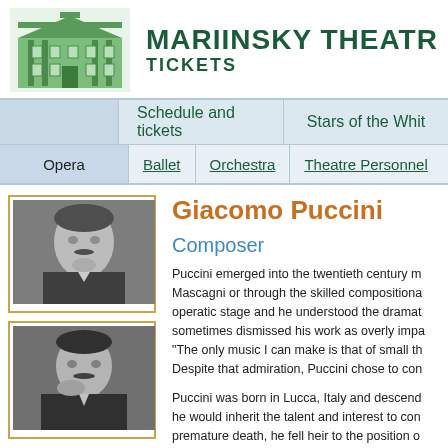MARIINSKY THEATRE TICKETS
Schedule and tickets | Stars of the White
Opera | Ballet | Orchestra | Theatre Personnel
[Figure (photo): Black and white portrait photo of Giacomo Puccini, older style, man with moustache resting chin on hand]
[Figure (photo): Black and white portrait photo of a man with dark hair and moustache, resting hand near face]
Giacomo Puccini
Composer
Puccini emerged into the twentieth century m... Mascagni or through the skilled compositiona... operatic stage and he understood the dramat... sometimes dismissed his work as overly impa... "The only music I can make is that of small th... Despite that admiration, Puccini chose to con...
Puccini was born in Lucca, Italy and descend... he would inherit the talent and interest to con... premature death, he fell heir to the position o... Collegio Ponziano. However, plans to preserv... hiked thirteen miles to the city of Pisa to witne...